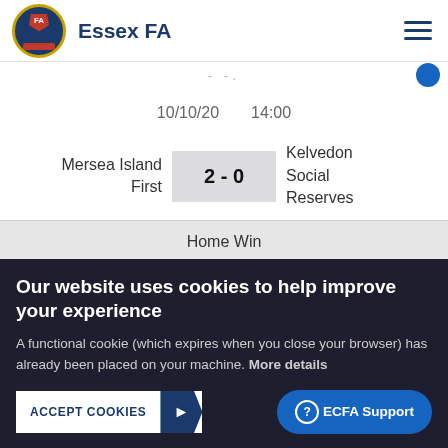Essex FA
10/10/20   14:00
| Home | Score | Away |
| --- | --- | --- |
| Mersea Island First | 2 - 0 | Kelvedon Social Reserves |
Home Win
Our website uses cookies to help improve your experience
A functional cookie (which expires when you close your browser) has already been placed on your machine. More details
ACCEPT COOKIES
ECFA Support